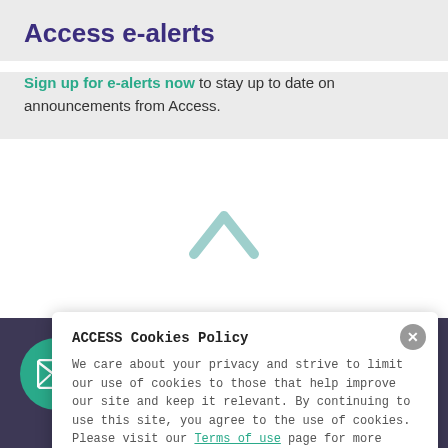Access e-alerts
Sign up for e-alerts now to stay up to date on announcements from Access.
[Figure (illustration): Teal chevron/caret up arrow icon centered in white space]
Sign-up for our monthly e-newsletter
ACCESS Cookies Policy
We care about your privacy and strive to limit our use of cookies to those that help improve our site and keep it relevant. By continuing to use this site, you agree to the use of cookies. Please visit our Terms of use page for more information about cookies and how we use them.